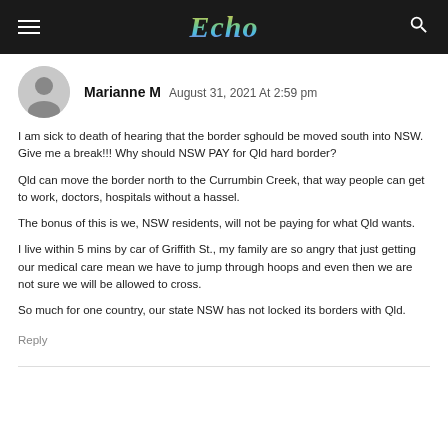Echo
Marianne M  August 31, 2021 At 2:59 pm
I am sick to death of hearing that the border sghould be moved south into NSW. Give me a break!!! Why should NSW PAY for Qld hard border?
Qld can move the border north to the Currumbin Creek, that way people can get to work, doctors, hospitals without a hassel.
The bonus of this is we, NSW residents, will not be paying for what Qld wants.
I live within 5 mins by car of Griffith St., my family are so angry that just getting our medical care mean we have to jump through hoops and even then we are not sure we will be allowed to cross.
So much for one country, our state NSW has not locked its borders with Qld.
Reply